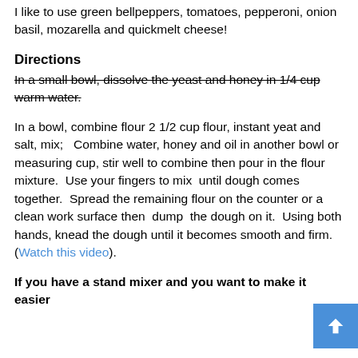I like to use green bellpeppers, tomatoes, pepperoni, onion basil, mozarella and quickmelt cheese!
Directions
In a small bowl, dissolve the yeast and honey in 1/4 cup warm water.
In a bowl, combine flour 2 1/2 cup flour, instant yeat and salt, mix;   Combine water, honey and oil in another bowl or measuring cup, stir well to combine then pour in the flour mixture.  Use your fingers to mix  until dough comes together.  Spread the remaining flour on the counter or a clean work surface then  dump  the dough on it.  Using both hands, knead the dough until it becomes smooth and firm.  (Watch this video).
If you have a stand mixer and you want to make it easier